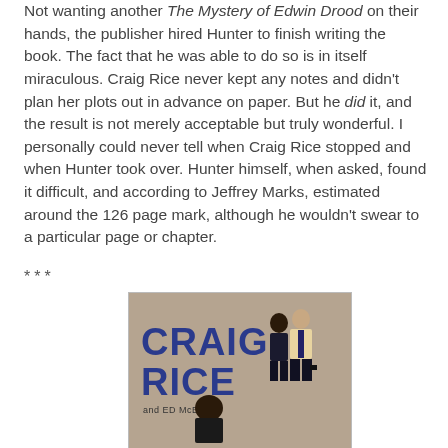Not wanting another The Mystery of Edwin Drood on their hands, the publisher hired Hunter to finish writing the book. The fact that he was able to do so is in itself miraculous. Craig Rice never kept any notes and didn't plan her plots out in advance on paper. But he did it, and the result is not merely acceptable but truly wonderful. I personally could never tell when Craig Rice stopped and when Hunter took over. Hunter himself, when asked, found it difficult, and according to Jeffrey Marks, estimated around the 126 page mark, although he wouldn't swear to a particular page or chapter.
***
[Figure (illustration): Book cover illustration showing 'CRAIG RICE and ED McBAIN' title text in bold blue letters on a tan/beige background, with illustrated figures of people in the background]